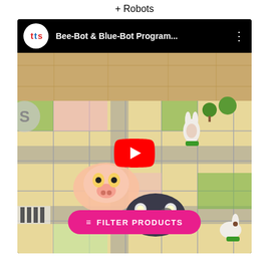Bee-Bot, Blue-Bot + Robots
[Figure (screenshot): YouTube video thumbnail showing Bee-Bot and Blue-Bot robots on a colorful town/farm grid mat. The video is titled 'Bee-Bot & Blue-Bot Program...' from the TTS channel. A pink 'FILTER PRODUCTS' button is overlaid at the bottom.]